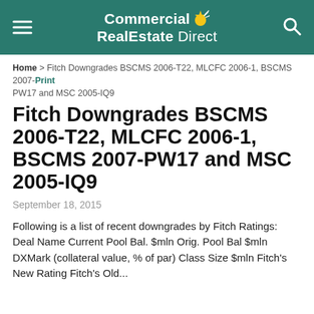Commercial RealEstate Direct
Home > Fitch Downgrades BSCMS 2006-T22, MLCFC 2006-1, BSCMS 2007-PW17 and MSC 2005-IQ9 Print
Fitch Downgrades BSCMS 2006-T22, MLCFC 2006-1, BSCMS 2007-PW17 and MSC 2005-IQ9
September 18, 2015
Following is a list of recent downgrades by Fitch Ratings: Deal Name Current Pool Bal. $mln Orig. Pool Bal $mln DXMark (collateral value, % of par) Class Size $mln Fitch's New Rating Fitch's Old...